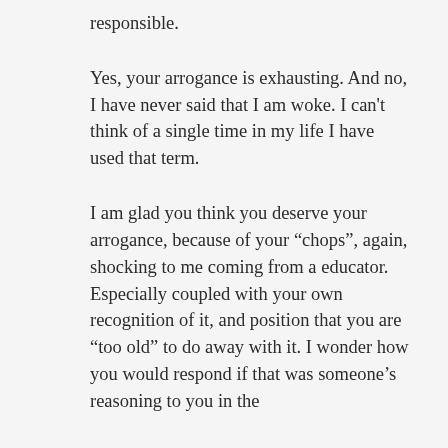responsible.
Yes, your arrogance is exhausting. And no, I have never said that I am woke. I can't think of a single time in my life I have used that term.
I am glad you think you deserve your arrogance, because of your “chops”, again, shocking to me coming from a educator. Especially coupled with your own recognition of it, and position that you are “too old” to do away with it. I wonder how you would respond if that was someone’s reasoning to you in the